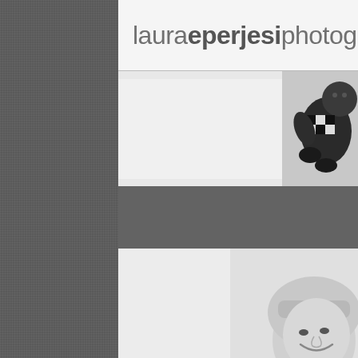lauraeperjesiphotography
[Figure (photo): Photography website screenshot showing the logo 'lauraeperjesiphotography' at top, a textured dark gray sidebar on the left, a top photo strip with a person/baby in black and white on the right edge, a dark gray divider band, and a bottom large photo area showing a woman's smiling face in black and white in the lower right corner.]